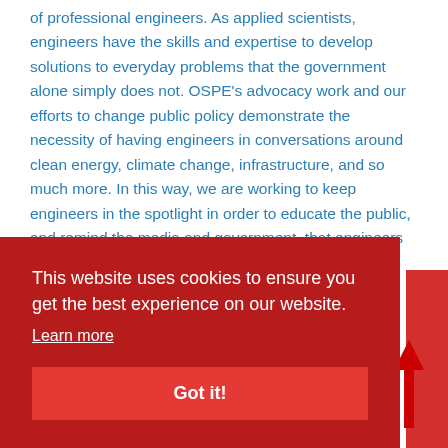of professional engineers. As applied scientists, engineers have the skills and expertise to develop solutions to everyday problems that the government alone simply does not. OSPE's advocacy work and our efforts to change public policy demonstrate the necessity of having engineers in conversations around clean energy, climate change, infrastructure, and so much more. In this way, we are working to keep engineers in the spotlight in order to educate the public, and remind the media and government, that engineers are a truly invaluable resource
This website uses cookies to ensure you get the best experience on our website.
Learn more
Got it!
them know in the comments